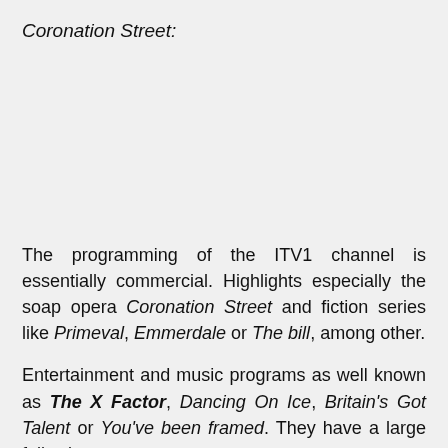Coronation Street:
The programming of the ITV1 channel is essentially commercial. Highlights especially the soap opera Coronation Street and fiction series like Primeval, Emmerdale or The bill, among other.
Entertainment and music programs as well known as The X Factor, Dancing On Ice, Britain's Got Talent or You've been framed. They have a large following too.